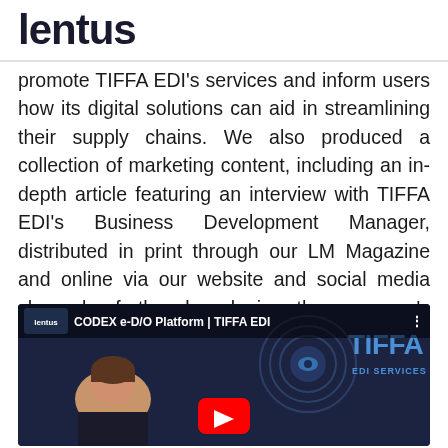lentus
promote TIFFA EDI's services and inform users how its digital solutions can aid in streamlining their supply chains. We also produced a collection of marketing content, including an in-depth article featuring an interview with TIFFA EDI's Business Development Manager, distributed in print through our LM Magazine and online via our website and social media channels, further broadening the company's digital reach.
[Figure (screenshot): Video thumbnail showing a YouTube video titled 'CODEX e-D/O Platform | TIFFA EDI' on the Lentus channel. A woman is visible in the foreground with the TIFFA EDI Services Co., Ltd. logo in the background. A red YouTube play button is overlaid at the bottom center.]